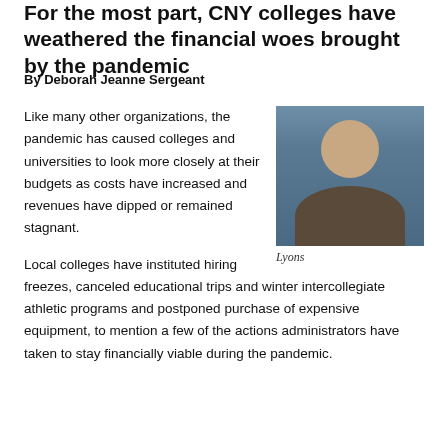For the most part, CNY colleges have weathered the financial woes brought by the pandemic
By Deborah Jeanne Sergeant
Like many other organizations, the pandemic has caused colleges and universities to look more closely at their budgets as costs have increased and revenues have dipped or remained stagnant.
[Figure (photo): Headshot photo of Lyons, a man with glasses wearing a suit and tie]
Lyons
Local colleges have instituted hiring freezes, canceled educational trips and winter intercollegiate athletic programs and postponed purchase of expensive equipment, to mention a few of the actions administrators have taken to stay financially viable during the pandemic.